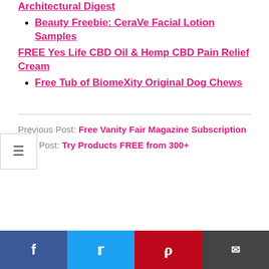Architectural Digest
Beauty Freebie: CeraVe Facial Lotion Samples
FREE Yes Life CBD Oil & Hemp CBD Pain Relief Cream
Free Tub of BiomeXity Original Dog Chews
Previous Post: Free Vanity Fair Magazine Subscription
Next Post: Try Products FREE from 300+